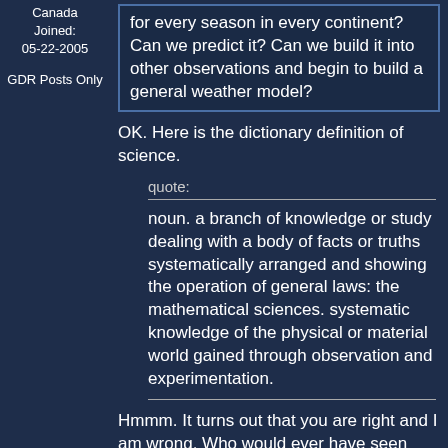Canada
Joined:
05-22-2005

GDR Posts Only
for every season in every continent? Can we predict it? Can we build it into other observations and begin to build a general weather model?
OK. Here is the dictionary definition of science.
quote:
noun. a branch of knowledge or study dealing with a body of facts or truths systematically arranged and showing the operation of general laws: the mathematical sciences. systematic knowledge of the physical or material world gained through observation and experimentation.
Hmmm. It turns out that you are right and I am wrong. Who would ever have seen that coming. 🙂